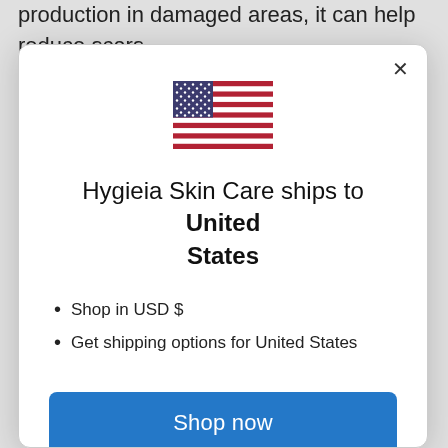production in damaged areas, it can help reduce scars and promote healthy wound healing
[Figure (illustration): US flag SVG illustration]
Hygieia Skin Care ships to United States
Shop in USD $
Get shipping options for United States
Shop now
Change shipping country